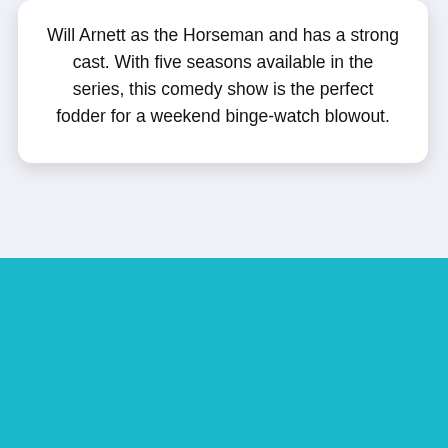Will Arnett as the Horseman and has a strong cast. With five seasons available in the series, this comedy show is the perfect fodder for a weekend binge-watch blowout.
[Figure (illustration): White outline icon of a retro television set with an antenna, on a teal/cyan background]